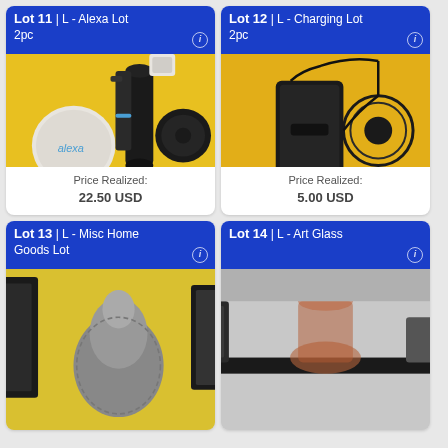Lot 11 | L - Alexa Lot 2pc
[Figure (photo): Photo of Amazon Alexa devices and accessories on yellow background]
Price Realized: 22.50 USD
Lot 12 | L - Charging Lot 2pc
[Figure (photo): Photo of power bank and wireless charging pad with cable on yellow background]
Price Realized: 5.00 USD
Lot 13 | L - Misc Home Goods Lot
[Figure (photo): Partial photo of misc home goods items on yellow background]
Lot 14 | L - Art Glass
[Figure (photo): Partial photo of art glass items]